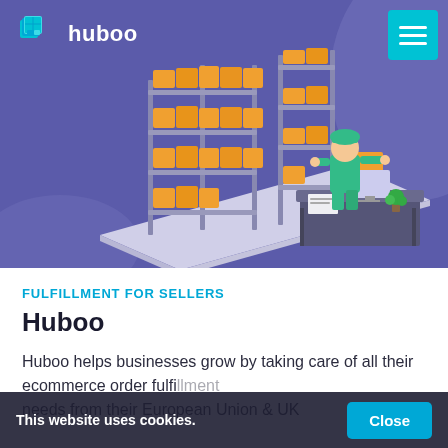[Figure (illustration): Isometric illustration of a warehouse with shelves stacked with cardboard boxes and a worker in a green hoodie at a desk with a computer]
huboo
FULFILLMENT FOR SELLERS
Huboo
Huboo helps businesses grow by taking care of all their ecommerce order fulfillment needs from their European Union & UK
This website uses cookies.